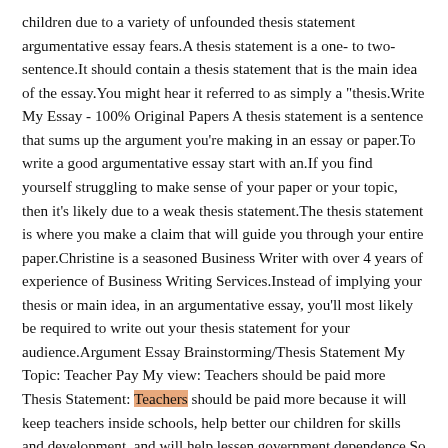children due to a variety of unfounded thesis statement argumentative essay fears.A thesis statement is a one- to two-sentence.It should contain a thesis statement that is the main idea of the essay.You might hear it referred to as simply a "thesis.Write My Essay - 100% Original Papers A thesis statement is a sentence that sums up the argument you're making in an essay or paper.To write a good argumentative essay start with an.If you find yourself struggling to make sense of your paper or your topic, then it's likely due to a weak thesis statement.The thesis statement is where you make a claim that will guide you through your entire paper.Christine is a seasoned Business Writer with over 4 years of experience of Business Writing Services.Instead of implying your thesis or main idea, in an argumentative essay, you'll most likely be required to write out your thesis statement for your audience.Argument Essay Brainstorming/Thesis Statement My Topic: Teacher Pay My view: Teachers should be paid more Thesis Statement: Teachers should be paid more because it will keep teachers inside schools, help better our children for skills and development, and will help lessen government dependence.So what makes up a thesis